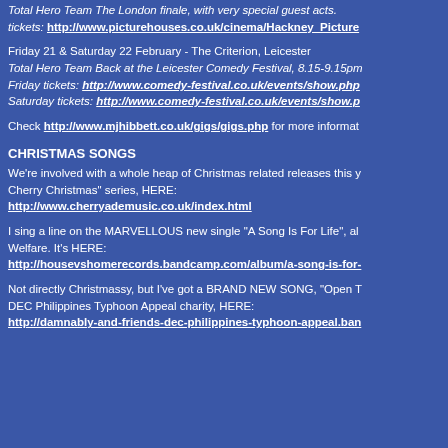Total Hero Team The London finale, with very special guest acts. tickets: http://www.picturehouses.co.uk/cinema/Hackney_Picture
Friday 21 & Saturday 22 February - The Criterion, Leicester
Total Hero Team Back at the Leicester Comedy Festival, 8.15-9.15pm
Friday tickets: http://www.comedy-festival.co.uk/events/show.php
Saturday tickets: http://www.comedy-festival.co.uk/events/show.p
Check http://www.mjhibbett.co.uk/gigs/gigs.php for more informat
CHRISTMAS SONGS
We're involved with a whole heap of Christmas related releases this y Cherry Christmas" series, HERE:
http://www.cherryademusic.co.uk/index.html
I sing a line on the MARVELLOUS new single "A Song Is For Life", al Welfare. It's HERE:
http://housevshomerecords.bandcamp.com/album/a-song-is-for-
Not directly Christmassy, but I've got a BRAND NEW SONG, "Open T DEC Philippines Typhoon Appeal charity, HERE:
http://damnably-and-friends-dec-philippines-typhoon-appeal.ban